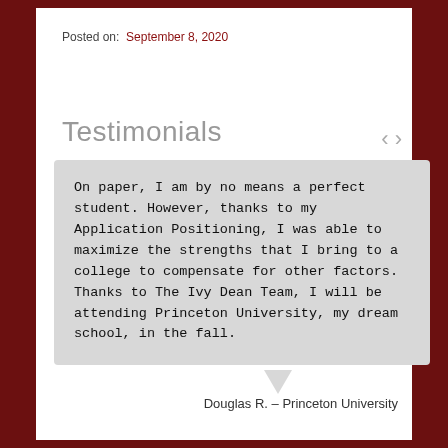Posted on:  September 8, 2020
Testimonials
On paper, I am by no means a perfect student. However, thanks to my Application Positioning, I was able to maximize the strengths that I bring to a college to compensate for other factors. Thanks to The Ivy Dean Team, I will be attending Princeton University, my dream school, in the fall.
Douglas R. – Princeton University